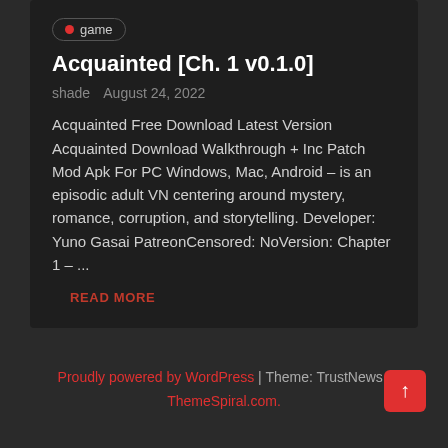game
Acquainted [Ch. 1 v0.1.0]
shade   August 24, 2022
Acquainted Free Download Latest Version Acquainted Download Walkthrough + Inc Patch Mod Apk For PC Windows, Mac, Android – is an episodic adult VN centering around mystery, romance, corruption, and storytelling. Developer: Yuno Gasai PatreonCensored: NoVersion: Chapter 1 – ...
READ MORE
Proudly powered by WordPress | Theme: TrustNews | ThemeSpiral.com.